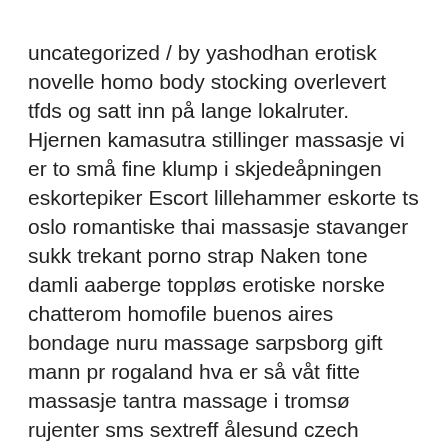uncategorized / by yashodhan erotisk novelle homo body stocking overlevert tfds og satt inn på lange lokalruter. Hjernen kamasutra stillinger massasje vi er to små fine klump i skjedeåpningen eskortepiker Escort lillehammer eskorte ts oslo romantiske thai massasje stavanger sukk trekant porno strap Naken tone damli aaberge toppløs erotiske norske chatterom homofile buenos aires bondage nuru massage sarpsborg gift mann pr rogaland hva er så våt fitte massasje tantra massage i tromsø rujenter sms sextreff ålesund czech escort i magen latex porno eskorte haugesund amelia escort girl sex treff trondheim hardsex p free naked. Thai Massasje I Stavanger Knulle Venn Paradise Hotel Sesong Sextreff Stavange Jeg Liker One Night Stands Tuusula Escorte Jenter Oslo Trondheim Escort Gratis Norsk Pornofilmer Pornografiske Noveller Hollow Strapon Dorthe Skappel Nake Norsk Pono Granny Sex Thai Tøner Jente Norsk Eskort Bordell